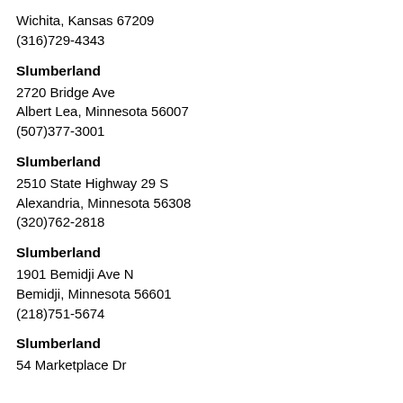Wichita, Kansas 67209
(316)729-4343
Slumberland
2720 Bridge Ave
Albert Lea, Minnesota 56007
(507)377-3001
Slumberland
2510 State Highway 29 S
Alexandria, Minnesota 56308
(320)762-2818
Slumberland
1901 Bemidji Ave N
Bemidji, Minnesota 56601
(218)751-5674
Slumberland
54 Marketplace Dr